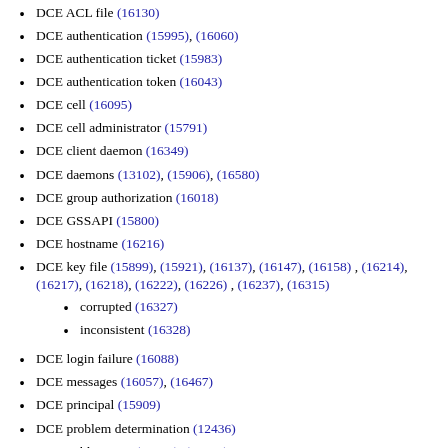DCE ACL file (16130)
DCE authentication (15995), (16060)
DCE authentication ticket (15983)
DCE authentication token (16043)
DCE cell (16095)
DCE cell administrator (15791)
DCE client daemon (16349)
DCE daemons (13102), (15906), (16580)
DCE group authorization (16018)
DCE GSSAPI (15800)
DCE hostname (16216)
DCE key file (15899), (15921), (16137), (16147), (16158) , (16214), (16217), (16218), (16222), (16226) , (16237), (16315)
corrupted (16327)
inconsistent (16328)
DCE login failure (16088)
DCE messages (16057), (16467)
DCE principal (15909)
DCE problem determination (12436)
DCE publications (15794), (15803)
DCE registry (16313), (16326), (16338), (16546), (16575) , (16581)